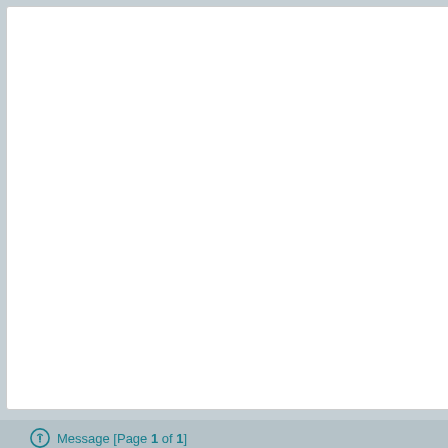[Figure (photo): Photo strip showing people at an event, dark background]
2011.7.3 AM2 2012.3.28 SCANDAL vs BUDOKAN 11 & Music 2014 6.2 Fan Meeting 2015 HELLO WOR Meeting 5.22 HNL Ekiden & Music 2016 5.23 Fan Meeting Anaheim - MTY - MEX - Dallas 20
Message [Page 1 of 1]
SCANDAL HEAVEN » SCANDAL » SCANDAL News » SCANDAL Blog » Blog 2022
» Similar topics
» JAPAN JAM 2022 - 2022-05-08 (RINA)
» 2022 - 2022-01-01 (RINA)
» Like this - 2022-04-12 (RINA)
» Only on that day - 2022-04-13 (RINA)
» M&G - 2022-06-18 (RINA)